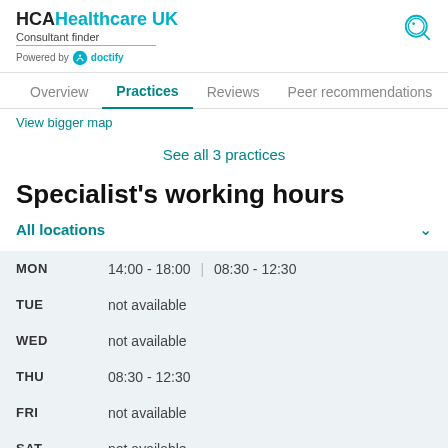HCA Healthcare UK — Consultant finder — Powered by doctify
Overview | Practices | Reviews | Peer recommendations
View bigger map
See all 3 practices
Specialist's working hours
All locations
| Day | Hours |
| --- | --- |
| MON | 14:00 - 18:00 | 08:30 - 12:30 |
| TUE | not available |
| WED | not available |
| THU | 08:30 - 12:30 |
| FRI | not available |
| SAT | not available |